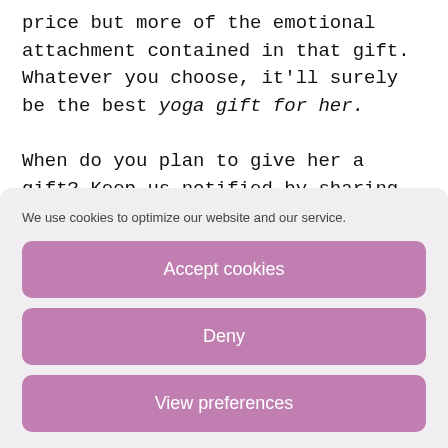price but more of the emotional attachment contained in that gift. Whatever you choose, it'll surely be the best yoga gift for her.
When do you plan to give her a gift? Keep us notified by sharing
We use cookies to optimize our website and our service.
Accept cookies
Deny
View preferences
Cookie Policy  Privacy Policy